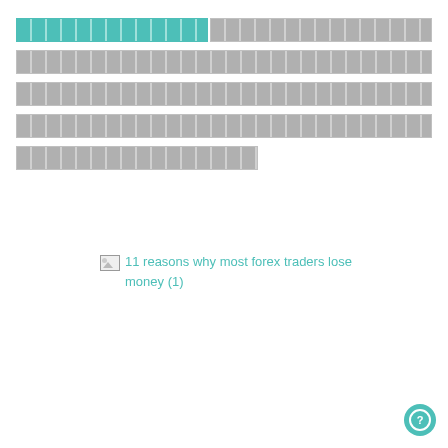[redacted text block 1 - mixed teal and gray]
[redacted text block 2 - gray]
[redacted text block 3 - gray]
[redacted text block 4 - gray]
[redacted text block 5 - gray, partial width]
[Figure (other): Broken image placeholder with alt text: 11 reasons why most forex traders lose money (1)]